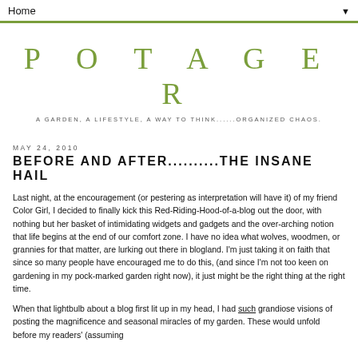Home ▼
POTAGER
A GARDEN, A LIFESTYLE, A WAY TO THINK......ORGANIZED CHAOS.
MAY 24, 2010
BEFORE AND AFTER..........THE INSANE HAIL
Last night, at the encouragement (or pestering as interpretation will have it) of my friend Color Girl, I decided to finally kick this Red-Riding-Hood-of-a-blog out the door, with nothing but her basket of intimidating widgets and gadgets and the over-arching notion that life begins at the end of our comfort zone.  I have no idea what wolves, woodmen, or grannies for that matter, are lurking out there in blogland.  I'm just taking it on faith that since so many people have encouraged me to do this, (and since I'm not too keen on gardening in my pock-marked garden right now), it just might be the right thing at the right time.
When that lightbulb about a blog first lit up in my head, I had such grandiose visions of posting the magnificence and seasonal miracles of my garden.  These would unfold before my readers' (assuming